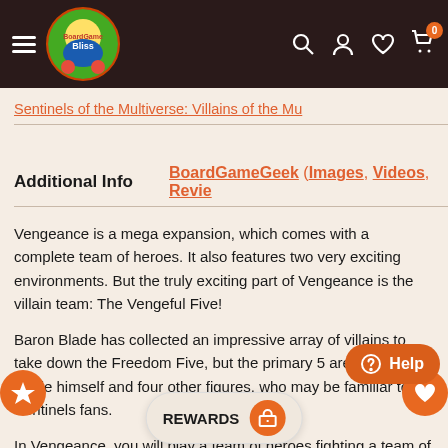BoardGame Bliss
Sentinels of the Multiverse: Villains of the Mu
Additional Info  BoardGameGeek (Images, Videos, Review
Vengeance is a mega expansion, which comes with a complete team of heroes. It also features two very exciting environments. But the truly exciting part of Vengeance is the villain team: The Vengeful Five!
Baron Blade has collected an impressive array of villains to take down the Freedom Five, but the primary 5 are Baron Blade himself and four other figures, who may be familiar to Sentinels fans.
In Vengeance, you will play a team of heroes fighting a team of villains, each with their own abilities and synergies. All of the heroes of the multiverse will be seen in a villain team now. With